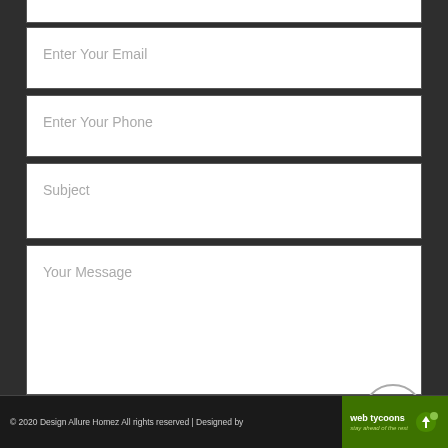Enter Your Email
Enter Your Phone
Subject
Your Message
SEND
[Figure (illustration): Circular scroll-to-top button with upward arrow, white circle outline on dark background]
© 2020 Design Allure Homez All rights reserved | Designed by web tycoons